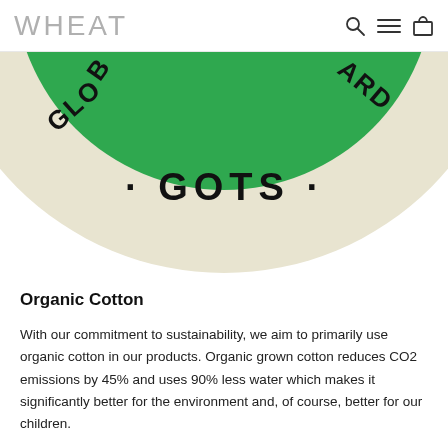WHEAT
[Figure (logo): GOTS (Global Organic Textile Standard) certification logo showing a circular badge with cream/beige background, green center with white icon, and text reading 'GOTS' at the bottom and 'GLOBAL STANDARD' around the ring. Only the bottom half of the circle is visible, cropped at the top.]
Organic Cotton
With our commitment to sustainability, we aim to primarily use organic cotton in our products. Organic grown cotton reduces CO2 emissions by 45% and uses 90% less water which makes it significantly better for the environment and, of course, better for our children.
WHEAT's organic cotton comes from suppliers that are certified